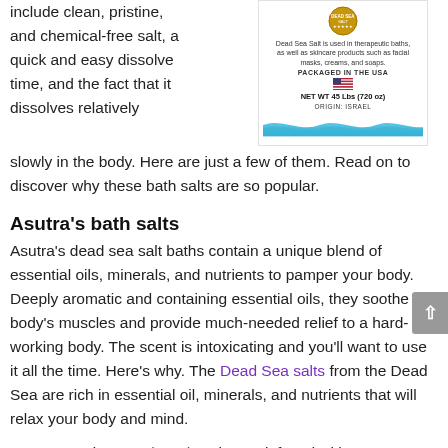include clean, pristine, and chemical-free salt, a quick and easy dissolve time, and the fact that it dissolves relatively slowly in the body. Here are just a few of them. Read on to discover why these bath salts are so popular.
[Figure (illustration): Dead Sea Salt product image with badge, text about therapeutic baths and skincare products, PACKAGED IN THE USA with US flag, NET WT 45 Lbs (720 oz), ORIGIN: ISRAEL, and blue wave graphic at bottom]
Asutra’s bath salts
Asutra’s dead sea salt baths contain a unique blend of essential oils, minerals, and nutrients to pamper your body. Deeply aromatic and containing essential oils, they soothe the body’s muscles and provide much-needed relief to a hard-working body. The scent is intoxicating and you’ll want to use it all the time. Here’s why. The Dead Sea salts from the Dead Sea are rich in essential oil, minerals, and nutrients that will relax your body and mind.
Asutra Dead Sea Salt Bath Salts are infused with